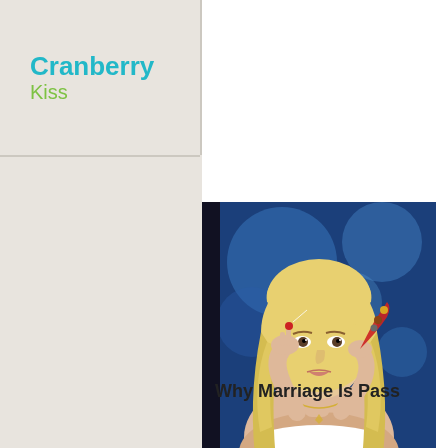Cranberry Kiss
[Figure (photo): Promotional photo of a blonde woman holding small figures in a red fan, with a blue bokeh background. TV show promotional image related to marriage/dating.]
Why Marriage Is Pass